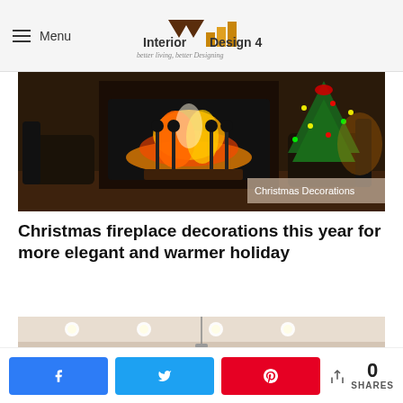Menu | Interior Design 4 — better living, better Designing
[Figure (photo): Cozy fireplace with burning fire, leather armchairs, and a Christmas tree decorated with lights and red ornaments on the right side. A semi-transparent badge reads 'Christmas Decorations'.]
Christmas fireplace decorations this year for more elegant and warmer holiday
[Figure (photo): Modern interior room with recessed ceiling lights and pendant lights, beige/cream walls and flooring.]